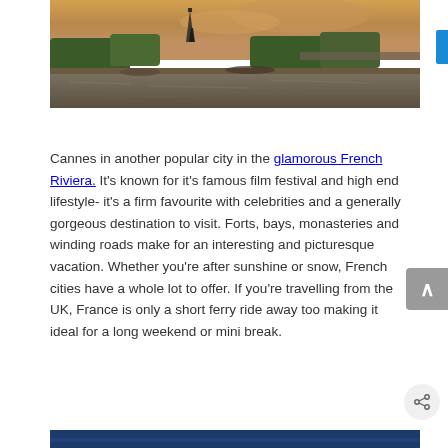[Figure (photo): Aerial/riverside view of Paris with the Eiffel Tower in background at sunset, river Seine in foreground with trees lining the banks]
Cannes in another popular city in the glamorous French Riviera. It's known for it's famous film festival and high end lifestyle- it's a firm favourite with celebrities and a generally gorgeous destination to visit. Forts, bays, monasteries and winding roads make for an interesting and picturesque vacation. Whether you're after sunshine or snow, French cities have a whole lot to offer. If you're travelling from the UK, France is only a short ferry ride away too making it ideal for a long weekend or mini break.
[Figure (photo): Partial bottom image, appears to be another travel photo with dark blue tone]